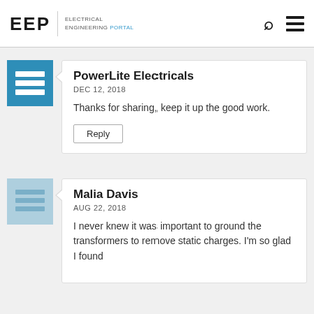EEP | ELECTRICAL ENGINEERING PORTAL
PowerLite Electricals
DEC 12, 2018
Thanks for sharing, keep it up the good work.
Reply
Malia Davis
AUG 22, 2018
I never knew it was important to ground the transformers to remove static charges. I'm so glad I found